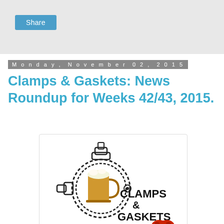Share
Monday, November 02, 2015
Clamps & Gaskets: News Roundup for Weeks 42/43, 2015.
[Figure (logo): Clamps & Gaskets logo: a tri-clamp with a beer mug inside, text 'CLAMPS & GASKETS' and a red infinity/pretzel symbol]
A bi-weekly, non-comprehensive roundup of news of beer and other things.